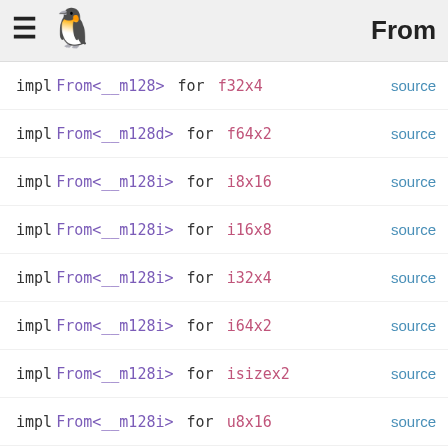From
impl From<__m128> for f32x4  source
impl From<__m128d> for f64x2  source
impl From<__m128i> for i8x16  source
impl From<__m128i> for i16x8  source
impl From<__m128i> for i32x4  source
impl From<__m128i> for i64x2  source
impl From<__m128i> for isizex2  source
impl From<__m128i> for u8x16  source
impl From<__m128i> for u16x8  source
impl From<__m128i> for u32x4  source